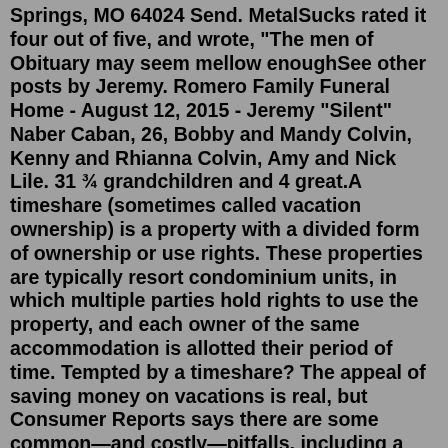Springs, MO 64024 Send. MetalSucks rated it four out of five, and wrote, "The men of Obituary may seem mellow enoughSee other posts by Jeremy. Romero Family Funeral Home - August 12, 2015 - Jeremy "Silent" Naber Caban, 26, Bobby and Mandy Colvin, Kenny and Rhianna Colvin, Amy and Nick Lile. 31 ¾ grandchildren and 4 great.A timeshare (sometimes called vacation ownership) is a property with a divided form of ownership or use rights. These properties are typically resort condominium units, in which multiple parties hold rights to use the property, and each owner of the same accommodation is allotted their period of time. Tempted by a timeshare? The appeal of saving money on vacations is real, but Consumer Reports says there are some common—and costly—pitfalls, including a timeshare exit. Still, a timeshare can be difficult to unload, in part because of a lack of demand for older ones on the resale market.Global salespersons promise vacation destinations everywhere you can imagine but they don't deliver. You can't get a vacation condo in